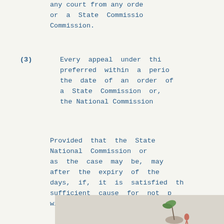any court from any order or a State Commission or Commission.
(3) Every appeal under this preferred within a period the date of an order of a State Commission or, the National Commission
Provided that the State National Commission or as the case may be, may after the expiry of the days, if, it is satisfied that sufficient cause for not preferring within the period of thirty
[Figure (illustration): Partial illustration visible at the bottom of the page showing decorative figures]